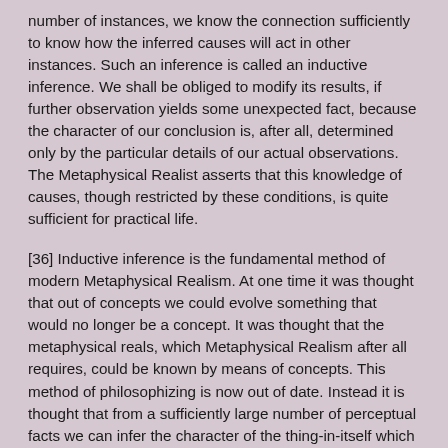number of instances, we know the connection sufficiently to know how the inferred causes will act in other instances. Such an inference is called an inductive inference. We shall be obliged to modify its results, if further observation yields some unexpected fact, because the character of our conclusion is, after all, determined only by the particular details of our actual observations. The Metaphysical Realist asserts that this knowledge of causes, though restricted by these conditions, is quite sufficient for practical life.
[36] Inductive inference is the fundamental method of modern Metaphysical Realism. At one time it was thought that out of concepts we could evolve something that would no longer be a concept. It was thought that the metaphysical reals, which Metaphysical Realism after all requires, could be known by means of concepts. This method of philosophizing is now out of date. Instead it is thought that from a sufficiently large number of perceptual facts we can infer the character of the thing-in-itself which lies behind these facts. Formerly it was from concepts; it is from percepts that the Realist...